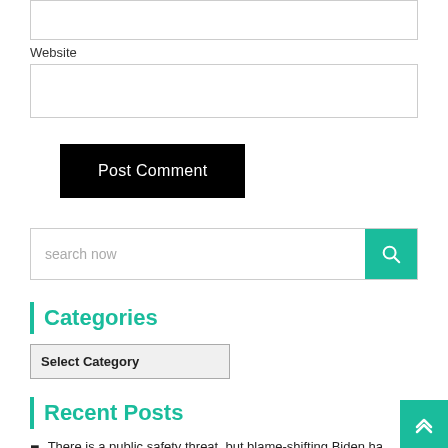[Figure (screenshot): Empty input box (top of page, partially visible)]
Website
[Figure (screenshot): Empty website input text box]
Post Comment
[Figure (screenshot): Search bar with placeholder 'search now' and teal search button with magnifying glass icon]
Categories
[Figure (screenshot): Select Category dropdown box]
Recent Posts
There is a public safety threat, but blame-shifting Biden ha